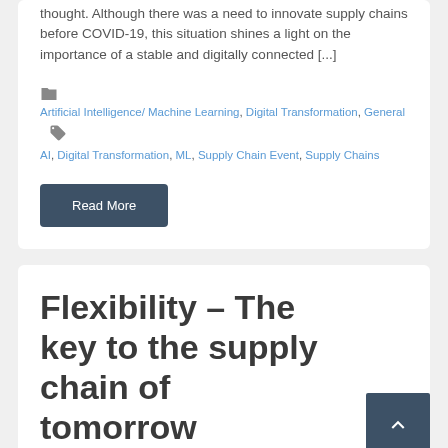thought. Although there was a need to innovate supply chains before COVID-19, this situation shines a light on the importance of a stable and digitally connected [...]
Artificial Intelligence/ Machine Learning, Digital Transformation, General   AI, Digital Transformation, ML, Supply Chain Event, Supply Chains
Read More
Flexibility – The key to the supply chain of tomorrow